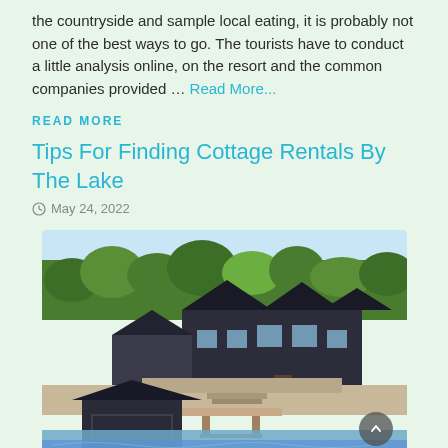the countryside and sample local eating, it is probably not one of the best ways to go. The tourists have to conduct a little analysis online, on the resort and the common companies provided … Read More...
READ MORE
Tips For Finding Cottage Rentals By The Lake
May 24, 2022
[Figure (photo): Aerial view of a large lakeside cottage/estate surrounded by trees, with a boathouse and dock visible in the foreground near the water]